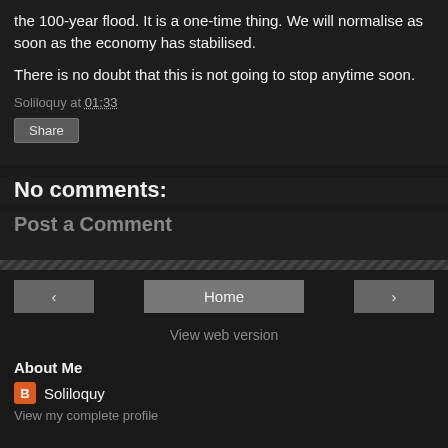the 100-year flood. It is a one-time thing. We will normalise as soon as the economy has stabilised.
There is no doubt that this is not going to stop anytime soon.
Soliloquy at 01:33
Share
No comments:
Post a Comment
Home
View web version
About Me
Soliloquy
View my complete profile